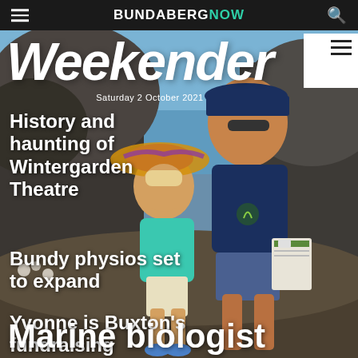BUNDABERGNOW
[Figure (photo): Magazine cover photo of a woman and young girl sitting on rocks outdoors. The woman wears a blue cap and navy t-shirt with a logo. The girl wears a large straw/colorful hat and turquoise jacket. Rocky coastal background.]
Weekender
Saturday 2 October 2021
History and haunting of Wintergarden Theatre
Bundy physios set to expand
Yvonne is Buxton's fundraising superstar
Marine biologist